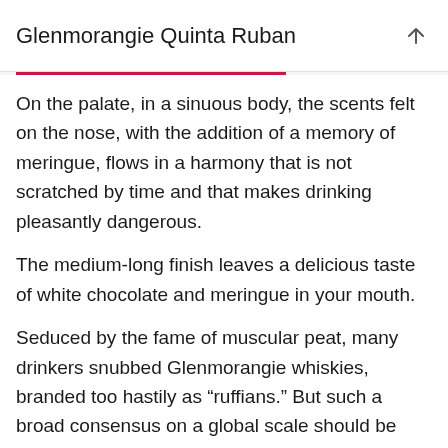Glenmorangie Quinta Ruban
On the palate, in a sinuous body, the scents felt on the nose, with the addition of a memory of meringue, flows in a harmony that is not scratched by time and that makes drinking pleasantly dangerous. The medium-long finish leaves a delicious taste of white chocolate and meringue in your mouth.
Seduced by the fame of muscular peat, many drinkers snubbed Glenmorangie whiskies, branded too hastily as “ruffians.” But such a broad consensus on a global scale should be considered. And the Quinta Ruban could be a good place to start.
Reviews of whisky from Glenmorangie in the blog: